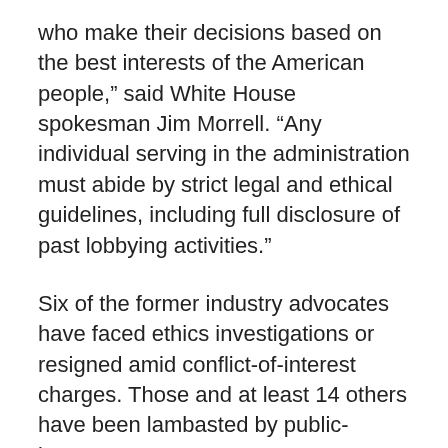who make their decisions based on the best interests of the American people,” said White House spokesman Jim Morrell. “Any individual serving in the administration must abide by strict legal and ethical guidelines, including full disclosure of past lobbying activities.”
Six of the former industry advocates have faced ethics investigations or resigned amid conflict-of-interest charges. Those and at least 14 others have been lambasted by public-interest groups.
Government ethics standards are part of the problem because they don’t fully address the kind of issues that now permeate Washington, Cooper and some inside government say. The rules focus